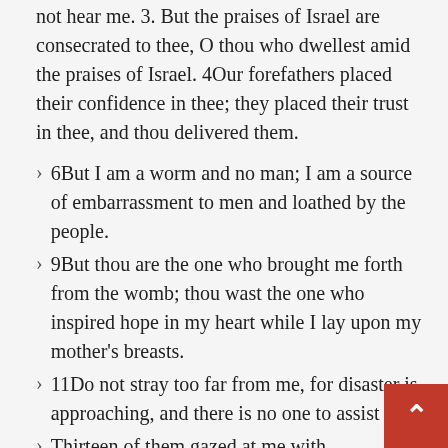not hear me. 3. But the praises of Israel are consecrated to thee, O thou who dwellest amid the praises of Israel. 4Our forefathers placed their confidence in thee; they placed their trust in thee, and thou delivered them.
6But I am a worm and no man; I am a source of embarrassment to men and loathed by the people.
9But thou are the one who brought me forth from the womb; thou wast the one who inspired hope in my heart while I lay upon my mother's breasts.
11Do not stray too far from me, for disaster is approaching, and there is no one to assist you.
Thirteen of them gazed at me with